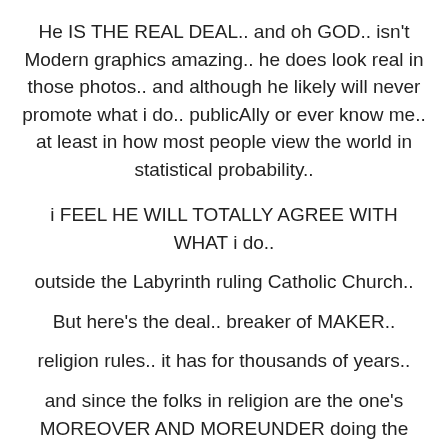He IS THE REAL DEAL.. and oh GOD.. isn't Modern graphics amazing.. he does look real in those photos.. and although he likely will never promote what i do.. publicAlly or ever know me.. at least in how most people view the world in statistical probability..
i FEEL HE WILL TOTALLY AGREE WITH WHAT i do..
outside the Labyrinth ruling Catholic Church..
But here’s the deal.. breaker of MAKER..
religion rules.. it has for thousands of years..
and since the folks in religion are the one’s MOREOVER AND MOREUNDER doing the reproducing.. REAL Emotional change of human heArt.. SPIRIT.. AND SOUL.. must come from inside the church walls.. eventually.. to